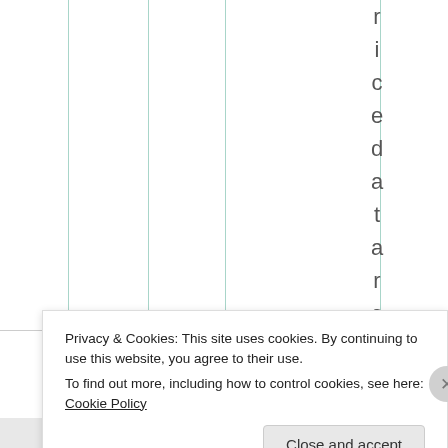[Figure (screenshot): Partial view of a table with teal/green vertical column lines and vertically spaced letters spelling 'ricedataro' down the right side, visible as part of a webpage screenshot.]
Privacy & Cookies: This site uses cookies. By continuing to use this website, you agree to their use.
To find out more, including how to control cookies, see here: Cookie Policy
Close and accept